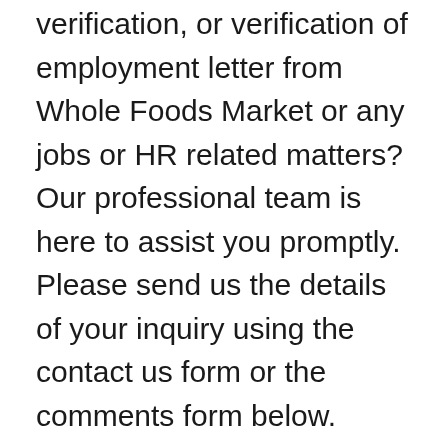verification, or verification of employment letter from Whole Foods Market or any jobs or HR related matters? Our professional team is here to assist you promptly. Please send us the details of your inquiry using the contact us form or the comments form below.